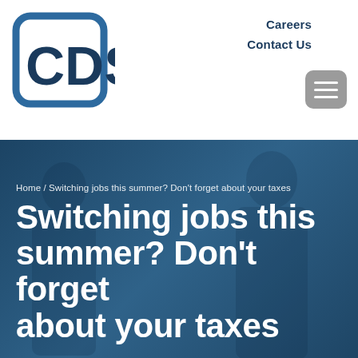[Figure (logo): CDS company logo — rounded square outline with 'CDS' text in dark blue]
Careers
Contact Us
[Figure (photo): Background hero image showing silhouetted figures of people, overlaid with blue tint]
Home / Switching jobs this summer? Don't forget about your taxes
Switching jobs this summer? Don't forget about your taxes